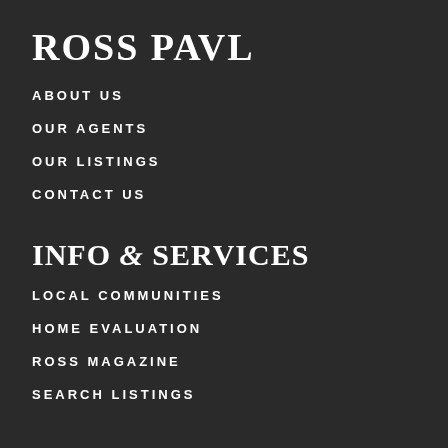ROSS PAVL
ABOUT US
OUR AGENTS
OUR LISTINGS
CONTACT US
INFO & SERVICES
LOCAL COMMUNITIES
HOME EVALUATION
ROSS MAGAZINE
SEARCH LISTINGS